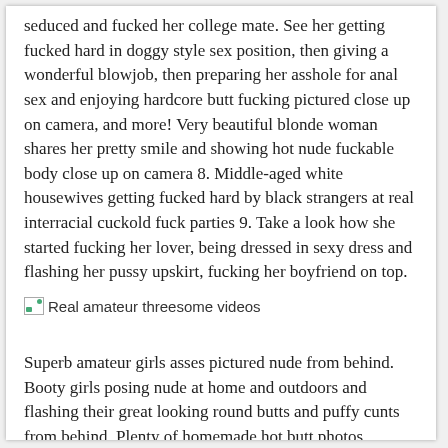seduced and fucked her college mate. See her getting fucked hard in doggy style sex position, then giving a wonderful blowjob, then preparing her asshole for anal sex and enjoying hardcore butt fucking pictured close up on camera, and more! Very beautiful blonde woman shares her pretty smile and showing hot nude fuckable body close up on camera 8. Middle-aged white housewives getting fucked hard by black strangers at real interracial cuckold fuck parties 9. Take a look how she started fucking her lover, being dressed in sexy dress and flashing her pussy upskirt, fucking her boyfriend on top.
[Figure (other): Broken image placeholder with alt text: Real amateur threesome videos]
Superb amateur girls asses pictured nude from behind. Booty girls posing nude at home and outdoors and flashing their great looking round butts and puffy cunts from behind. Plenty of homemade hot butt photos...